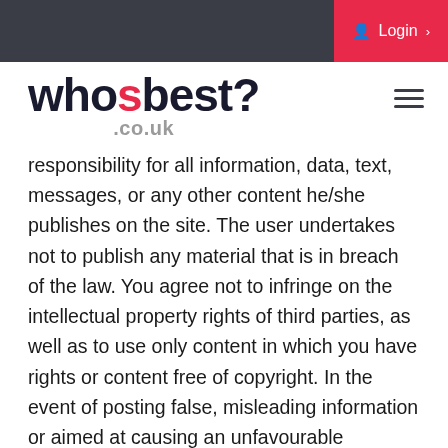Login
[Figure (logo): whosbest?.co.uk website logo with 'whos' in dark navy, 'best' in red/pink, '?' in dark navy, and '.co.uk' in grey below]
responsibility for all information, data, text, messages, or any other content he/she publishes on the site. The user undertakes not to publish any material that is in breach of the law. You agree not to infringe on the intellectual property rights of third parties, as well as to use only content in which you have rights or content free of copyright. In the event of posting false, misleading information or aimed at causing an unfavourable disposition of property, the user who posts such content shall be fully liable to civil and criminal law. In case such actions are detected, the